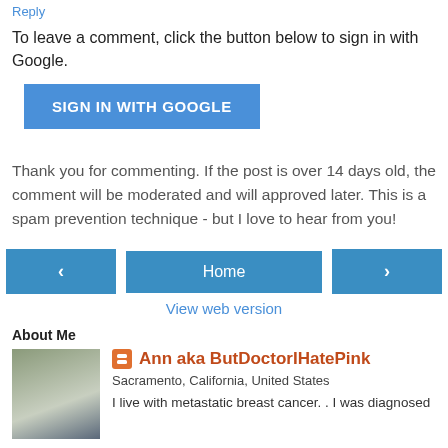Reply
To leave a comment, click the button below to sign in with Google.
[Figure (other): Blue button labeled SIGN IN WITH GOOGLE]
Thank you for commenting. If the post is over 14 days old, the comment will be moderated and will approved later. This is a spam prevention technique - but I love to hear from you!
[Figure (other): Navigation row with left arrow button, Home button, and right arrow button]
View web version
About Me
Ann aka ButDoctorIHatePink
Sacramento, California, United States
I live with metastatic breast cancer. . I was diagnosed